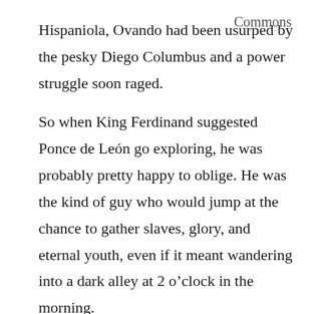Commons
Hispaniola, Ovando had been usurped by the pesky Diego Columbus and a power struggle soon raged.
So when King Ferdinand suggested Ponce de León go exploring, he was probably pretty happy to oblige. He was the kind of guy who would jump at the chance to gather slaves, glory, and eternal youth, even if it meant wandering into a dark alley at 2 o’clock in the morning.
Because, yes, I think it’s safe to assume that if Ponce de León were alive today, he would be pretty obsessed with the game Pokémon Go. Now I don’t know where else in the world this game may be at this point, but here in the US, it made its debut earlier this month, and I’m telling you, wash your hands